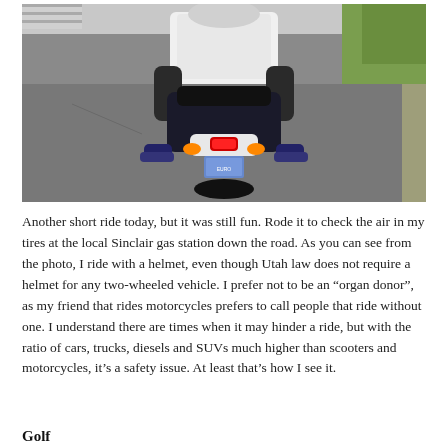[Figure (photo): Rear view of a person riding a scooter/motorcycle on a road, wearing a white t-shirt and a helmet, with the brake light lit in red and orange turn signals visible. A license plate is visible at the back of the scooter. The road is asphalt with a curb and vegetation visible on the right side.]
Another short ride today, but it was still fun. Rode it to check the air in my tires at the local Sinclair gas station down the road. As you can see from the photo, I ride with a helmet, even though Utah law does not require a helmet for any two-wheeled vehicle. I prefer not to be an “organ donor”, as my friend that rides motorcycles prefers to call people that ride without one. I understand there are times when it may hinder a ride, but with the ratio of cars, trucks, diesels and SUVs much higher than scooters and motorcycles, it’s a safety issue. At least that’s how I see it.
Golf